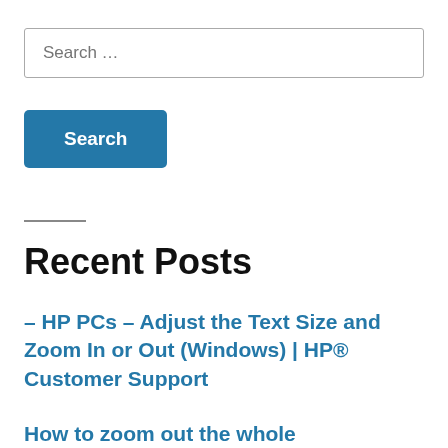Search …
Search
Recent Posts
– HP PCs – Adjust the Text Size and Zoom In or Out (Windows) | HP® Customer Support
How to zoom out the whole